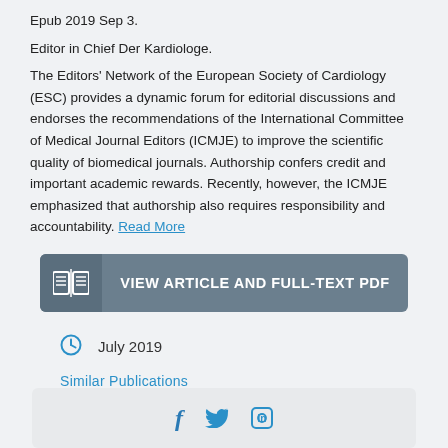Epub 2019 Sep 3.
Editor in Chief Der Kardiologe.
The Editors' Network of the European Society of Cardiology (ESC) provides a dynamic forum for editorial discussions and endorses the recommendations of the International Committee of Medical Journal Editors (ICMJE) to improve the scientific quality of biomedical journals. Authorship confers credit and important academic rewards. Recently, however, the ICMJE emphasized that authorship also requires responsibility and accountability. Read More
[Figure (other): Button: VIEW ARTICLE AND FULL-TEXT PDF with open book icon]
July 2019
Similar Publications
[Figure (other): Social media icons: Facebook, Twitter, LinkedIn]